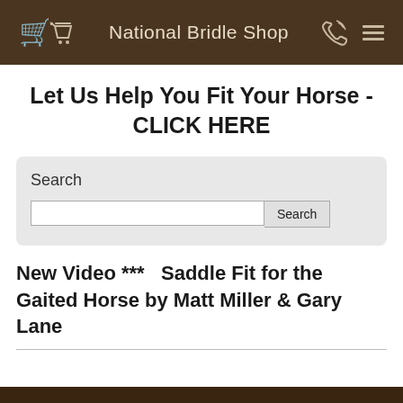National Bridle Shop
Let Us Help You Fit Your Horse - CLICK HERE
Search
New Video ***   Saddle Fit for the Gaited Horse by Matt Miller & Gary Lane